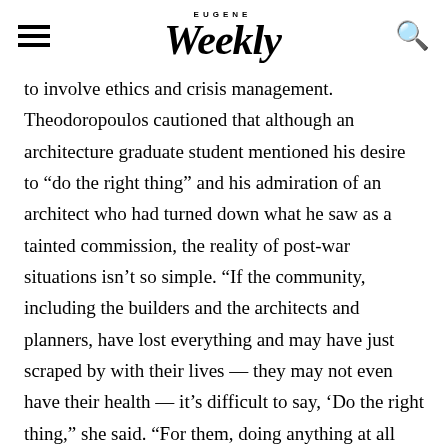EUGENE Weekly
to involve ethics and crisis management. Theodoropoulos cautioned that although an architecture graduate student mentioned his desire to “do the right thing” and his admiration of an architect who had turned down what he saw as a tainted commission, the reality of post-war situations isn't so simple. “If the community, including the builders and the architects and planners, have lost everything and may have just scraped by with their lives — they may not even have their health — it’s difficult to say, ‘Do the right thing,” she said. “For them, doing anything at all that can help them survive is an essential.”
Questions and comments focused on the ethics of